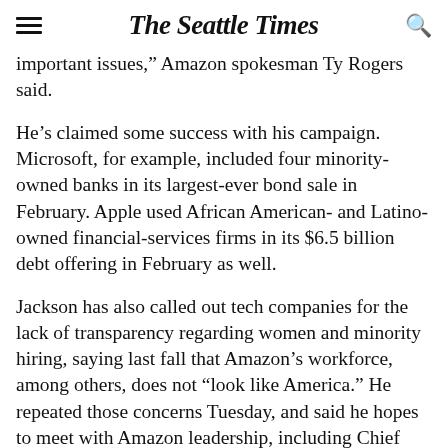The Seattle Times
important issues," Amazon spokesman Ty Rogers said.
He's claimed some success with his campaign. Microsoft, for example, included four minority-owned banks in its largest-ever bond sale in February. Apple used African American- and Latino-owned financial-services firms in its $6.5 billion debt offering in February as well.
Jackson has also called out tech companies for the lack of transparency regarding women and minority hiring, saying last fall that Amazon's workforce, among others, does not “look like America.” He repeated those concerns Tuesday, and said he hopes to meet with Amazon leadership, including Chief